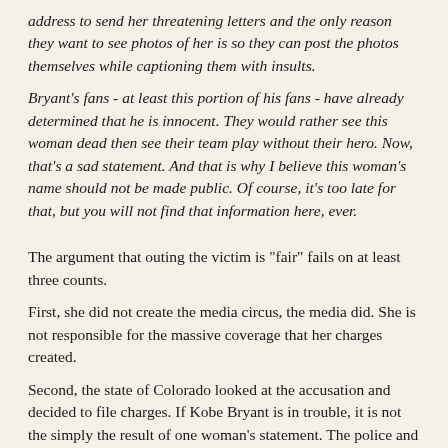address to send her threatening letters and the only reason they want to see photos of her is so they can post the photos themselves while captioning them with insults.
Bryant's fans - at least this portion of his fans - have already determined that he is innocent. They would rather see this woman dead then see their team play without their hero. Now, that's a sad statement. And that is why I believe this woman's name should not be made public. Of course, it's too late for that, but you will not find that information here, ever.
The argument that outing the victim is "fair" fails on at least three counts.
First, she did not create the media circus, the media did. She is not responsible for the massive coverage that her charges created.
Second, the state of Colorado looked at the accusation and decided to file charges. If Kobe Bryant is in trouble, it is not the simply the result of one woman's statement. The police and DA vetted that statement and found it credible and probably buttressed by forensic